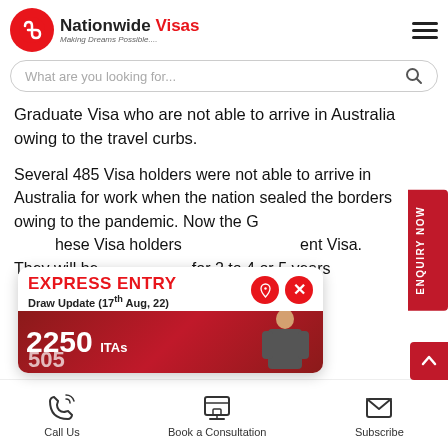[Figure (logo): Nationwide Visas logo with red circle icon and text 'Nationwide Visas - Making Dreams Possible...']
What are you looking for...
Graduate Visa who are not able to arrive in Australia owing to the travel curbs.
Several 485 Visa holders were not able to arrive in Australia for work when the nation sealed the borders owing to the pandemic. Now the Government ...these Visa holders ...ent Visa. They will be ...for 2 to 4 or 5 years
[Figure (infographic): EXPRESS ENTRY Draw Update (17th Aug, 22) popup showing 2250 ITAs and 505, with a person image and close/bell buttons]
ENQUIRY NOW
Call Us   Book a Consultation   Subscribe